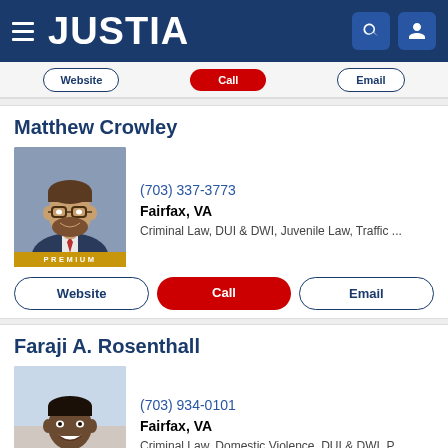JUSTIA
Website | Call | Email
Matthew Crowley
[Figure (photo): Professional headshot of Matthew Crowley, a man with glasses and a beard wearing a suit and tie]
(703) 337-3773
Fairfax, VA
Criminal Law, DUI & DWI, Juvenile Law, Traffic ...
Website | Call | Email
Faraji A. Rosenthall
[Figure (photo): Professional headshot of Faraji A. Rosenthall, a man in a light gray suit smiling]
(703) 934-0101
Fairfax, VA
Criminal Law, Domestic Violence, DUI & DWI, P...